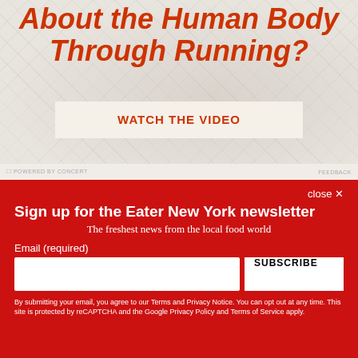[Figure (screenshot): Advertisement banner with red italic bold text reading 'About the Human Body Through Running?' on a light gray textured background, with a 'WATCH THE VIDEO' button below in red text on a cream/off-white background.]
POWERED BY CONCERT
FEEDBACK
close ×
Sign up for the Eater New York newsletter
The freshest news from the local food world
Email (required)
SUBSCRIBE
By submitting your email, you agree to our Terms and Privacy Notice. You can opt out at any time. This site is protected by reCAPTCHA and the Google Privacy Policy and Terms of Service apply.